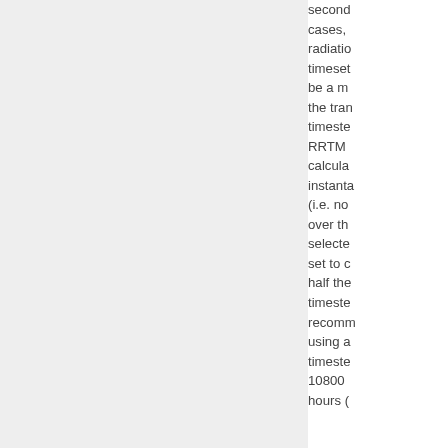second cases, radiation timeset be a m the tran timeste RRTMO calcula instanta (i.e. no over th selecte set to c half the timeste recomm using a timeste 10800 hours(